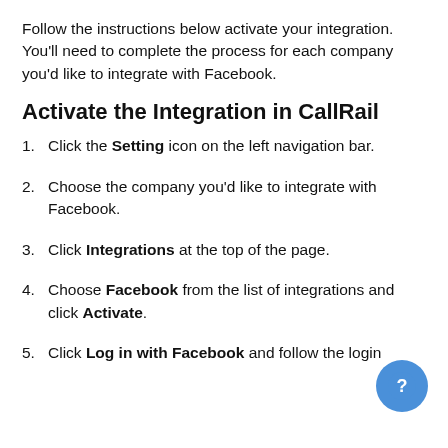Follow the instructions below activate your integration. You'll need to complete the process for each company you'd like to integrate with Facebook.
Activate the Integration in CallRail
Click the Setting icon on the left navigation bar.
Choose the company you'd like to integrate with Facebook.
Click Integrations at the top of the page.
Choose Facebook from the list of integrations and click Activate.
Click Log in with Facebook and follow the login